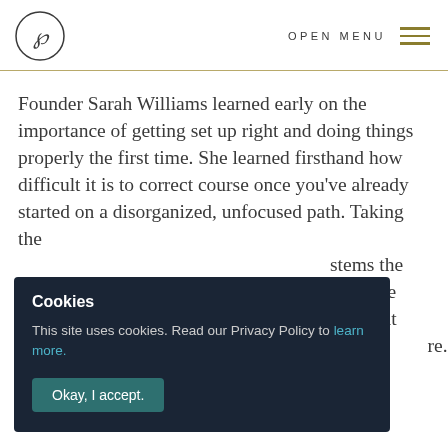OPEN MENU
Founder Sarah Williams learned early on the importance of getting set up right and doing things properly the first time. She learned firsthand how difficult it is to correct course once you've already started on a disorganized, unfocused path. Taking the [...]stems the [...] s to the [...] ave but [...] re.
Cookies

This site uses cookies. Read our Privacy Policy to learn more.

Okay, I accept.